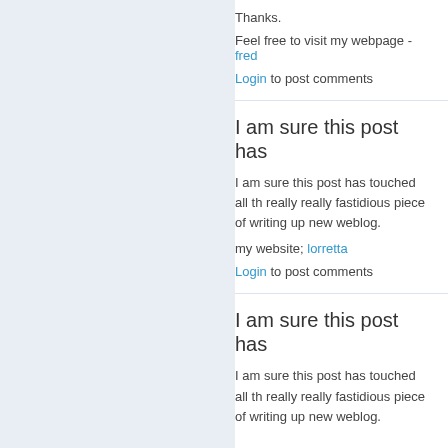Thanks.
Feel free to visit my webpage - fred
Login to post comments
I am sure this post has
I am sure this post has touched all th really really fastidious piece of writing up new weblog.
my website; lorretta
Login to post comments
I am sure this post has
I am sure this post has touched all th really really fastidious piece of writing up new weblog.